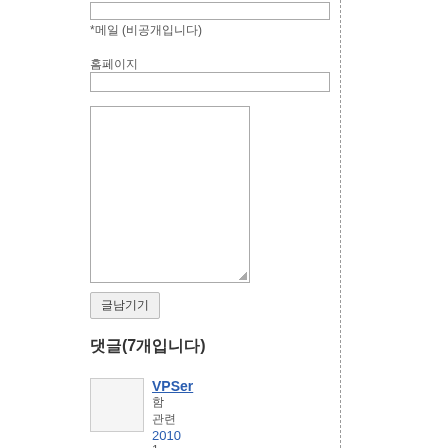*메일 (비공개입니다)
홈페이지
댓글(7개입니다)
[Figure (other): User avatar placeholder box]
VPSer
함
관련
2010
1
로